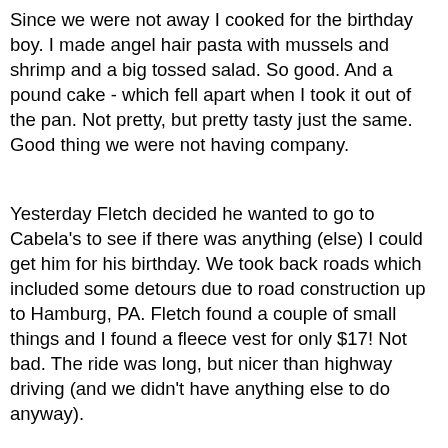Since we were not away I cooked for the birthday boy.  I made angel hair pasta with mussels and shrimp and a big tossed salad.  So good.  And a pound cake - which fell apart when I took it out of the pan.  Not pretty, but pretty tasty just the same.  Good thing we were not having company.
Yesterday Fletch decided he wanted to go to Cabela's to see if there was anything (else) I could get him for his birthday.  We took back roads which included some detours due to road construction up to Hamburg, PA.  Fletch found a couple of small things and I found a fleece vest for only $17!  Not bad.  The ride was long, but nicer than highway driving (and we didn't have anything else to do anyway).
Today we had absolutely no plans.  I ended up going to a yarn shop in Kimberton called Purls of Wisdom.  I had been there once in the Spring, but didn't have much time and didn't buy anything.  What a lovely shop it is!  Well stocked and friendly people.  And, plenty of "come in and knit" times on different days of the week.  I did not buy myself